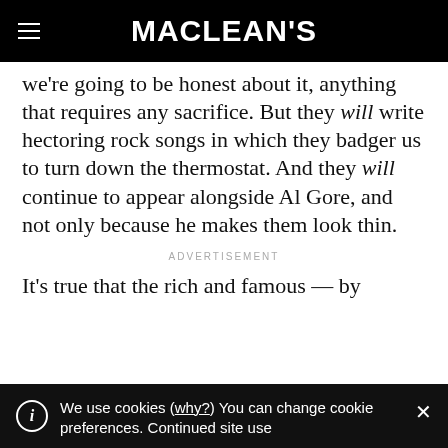MACLEAN'S
we're going to be honest about it, anything that requires any sacrifice. But they will write hectoring rock songs in which they badger us to turn down the thermostat. And they will continue to appear alongside Al Gore, and not only because he makes them look thin.
ADVERTISEMENT
It’s true that the rich and famous — by
We use cookies (why?) You can change cookie preferences. Continued site use